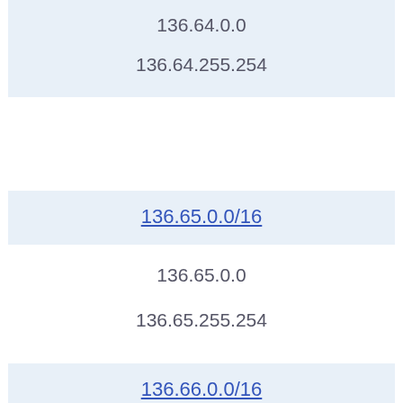| 136.64.0.0 |
| 136.64.255.254 |
| 136.65.0.0/16 |
| 136.65.0.0 |
| 136.65.255.254 |
| 136.66.0.0/16 |
| 136.66.0.0 |
| 136.66.255.254 |
| 136.67.0.0/16 |